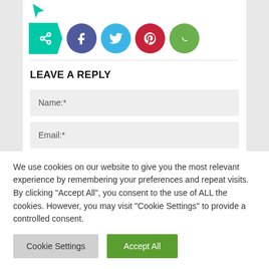[Figure (screenshot): Cyan cursor/pointer icon at top]
[Figure (infographic): Social share button row: green share bookmark button, Facebook circle (purple), Twitter circle (blue), Pinterest circle (red), WhatsApp circle (green)]
LEAVE A REPLY
Name:*
Email:*
We use cookies on our website to give you the most relevant experience by remembering your preferences and repeat visits. By clicking "Accept All", you consent to the use of ALL the cookies. However, you may visit "Cookie Settings" to provide a controlled consent.
Cookie Settings
Accept All